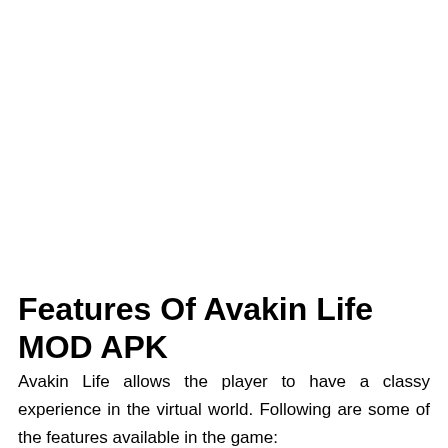Features Of Avakin Life MOD APK
Avakin Life allows the player to have a classy experience in the virtual world. Following are some of the features available in the game: